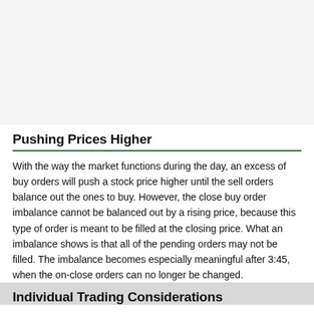Pushing Prices Higher
With the way the market functions during the day, an excess of buy orders will push a stock price higher until the sell orders balance out the ones to buy. However, the close buy order imbalance cannot be balanced out by a rising price, because this type of order is meant to be filled at the closing price. What an imbalance shows is that all of the pending orders may not be filled. The imbalance becomes especially meaningful after 3:45, when the on-close orders can no longer be changed.
Individual Trading Considerations